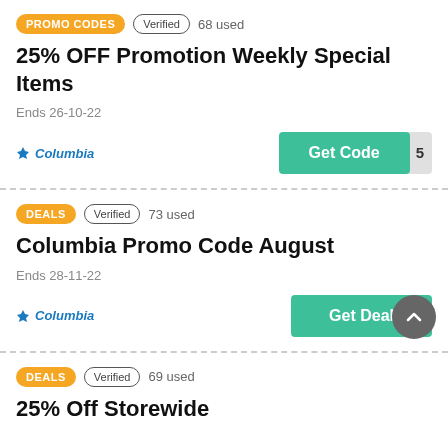PROMO CODES · Verified · 68 used
25% OFF Promotion Weekly Special Items
Ends 26-10-22
[Figure (logo): Columbia logo with diamond icon]
Get Code · 5
DEALS · Verified · 73 used
Columbia Promo Code August
Ends 28-11-22
[Figure (logo): Columbia logo with diamond icon]
Get Deal
DEALS · Verified · 69 used
25% Off Storewide